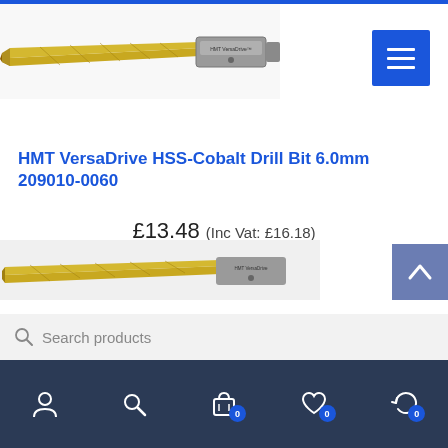[Figure (photo): HMT VersaDrive HSS-Cobalt drill bit with gold/tin coating and grey hexagonal shank adapter, shown at top of page]
HMT VersaDrive HSS-Cobalt Drill Bit 6.0mm 209010-0060
£13.48 (Inc Vat: £16.18)
[Figure (photo): HMT VersaDrive HSS-Cobalt drill bit partially visible at bottom of page]
Search products
Navigation bar with account, search, basket (0), wishlist (0), and returns (0) icons